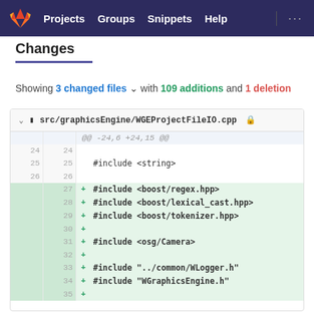Projects  Groups  Snippets  Help
Changes
Showing 3 changed files with 109 additions and 1 deletion
| old | new | diff |
| --- | --- | --- |
| ... | ... | @@ -24,6 +24,15 @@ |
| 24 | 24 |  |
| 25 | 25 |     #include <string> |
| 26 | 26 |  |
|  | 27 | + #include <boost/regex.hpp> |
|  | 28 | + #include <boost/lexical_cast.hpp> |
|  | 29 | + #include <boost/tokenizer.hpp> |
|  | 30 | + |
|  | 31 | + #include <osg/Camera> |
|  | 32 | + |
|  | 33 | + #include "../common/WLogger.h" |
|  | 34 | + #include "WGraphicsEngine.h" |
|  | 35 | + |